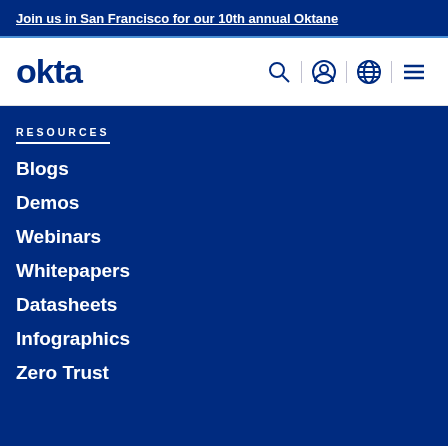Join us in San Francisco for our 10th annual Oktane
[Figure (logo): Okta logo in dark blue with navigation icons: search, user, globe, and hamburger menu]
RESOURCES
Blogs
Demos
Webinars
Whitepapers
Datasheets
Infographics
Zero Trust